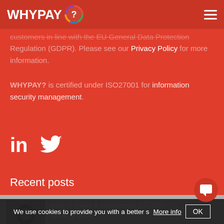WHYPAY?
customers in line with the EU General Data Protection Regulation (GDPR). Please see our Privacy Policy for more information.
WHYPAY? is certified under ISO27001 for information security management.
[Figure (logo): LinkedIn and Twitter social media icons in white]
Recent posts
How to make a conference call from a landline phone. 24th May 2021
We use cookies to provide you with a better s... More info OK